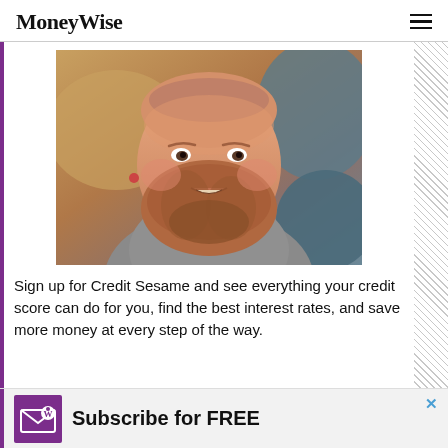MoneyWise
[Figure (photo): Portrait photo of a smiling middle-aged man with a red-brown beard, wearing a grey shirt, photographed outdoors]
Sign up for Credit Sesame and see everything your credit score can do for you, find the best interest rates, and save more money at every step of the way.
Subscribe for FREE